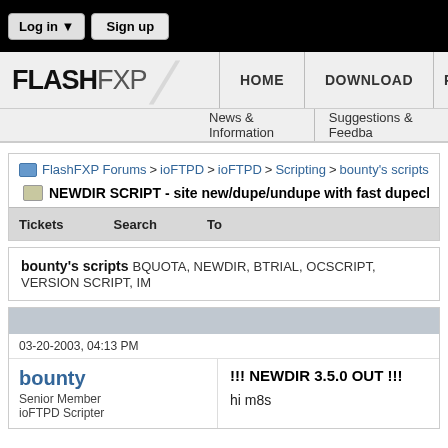Log in ▼  Sign up
FLASHFXP
HOME  DOWNLOAD  PU
News & Information  Suggestions & Feedba
FlashFXP Forums > ioFTPD > ioFTPD > Scripting > bounty's scripts
NEWDIR SCRIPT - site new/dupe/undupe with fast dupechecke
Tickets  Search  To
bounty's scripts BQUOTA, NEWDIR, BTRIAL, OCSCRIPT, VERSION SCRIPT, IM
03-20-2003, 04:13 PM
bounty
Senior Member
ioFTPD Scripter
!!! NEWDIR 3.5.0 OUT !!!

hi m8s